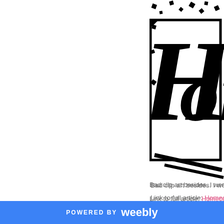[Figure (illustration): Partial view of a Homecoming comic/logo illustration with bold black lettering 'Hom' and scattered square shapes, cropped at the right edge of the page]
Bad clip art besides. I went t
Link to full article: Homecom
[Figure (other): Pinterest Save button - red rounded rectangle with Pinterest circle icon and 'Save' text in white]
[Figure (other): Twitter Tweet button - blue pill-shaped button with Twitter bird icon and 'Tweet' text in white]
0 Comments
LIEBSTER AWARD
2/3/2016
POWERED BY weebly